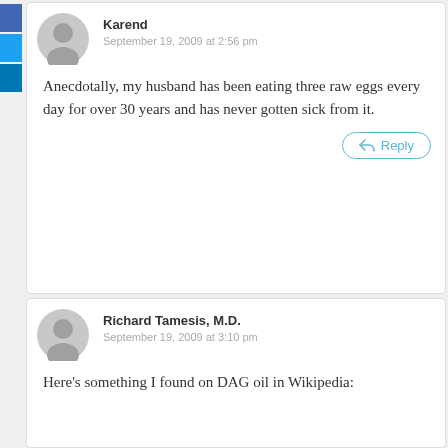[Figure (other): Social sharing sidebar with Facebook, Twitter, LinkedIn buttons]
Karend
September 19, 2009 at 2:56 pm
Anecdotally, my husband has been eating three raw eggs every day for over 30 years and has never gotten sick from it.
Reply
Richard Tamesis, M.D.
September 19, 2009 at 3:10 pm
Here’s something I found on DAG oil in Wikipedia: